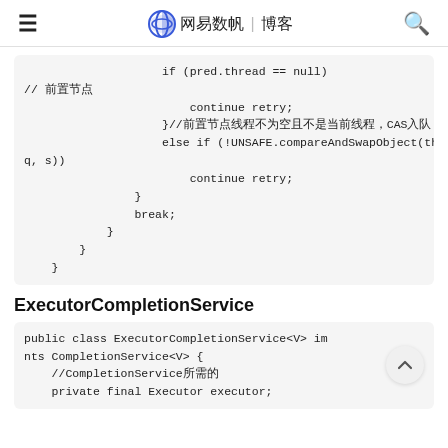≡ 网易数帆 | 博客 🔍
if (pred.thread == null)
// 前置节点
                        continue retry;
                    }//前置节点线程不为空且不是当前线程，CAS入队
                    else if (!UNSAFE.compareAndSwapObject(this, waitersOffset,
q, s))
                        continue retry;
                }
                break;
            }
        }
    }
ExecutorCompletionService
public class ExecutorCompletionService<V> implements CompletionService<V> {
    //CompletionService所需的
    private final Executor executor;